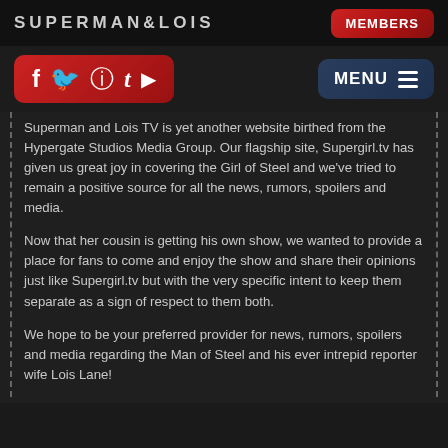SUPERMAN&LOIS | MEMBERS
[Figure (other): Social media icons bar (Facebook, Twitter, Instagram, Tumblr, YouTube) in red gradient box, and MENU button in dark blue]
Superman and Lois TV is yet another website birthed from the Hypergate Studios Media Group. Our flagship site, Supergirl.tv has given us great joy in covering the Girl of Steel and we've tried to remain a positive source for all the news, rumors, spoilers and media.
Now that her cousin is getting his own show, we wanted to provide a place for fans to come and enjoy the show and share their opinions just like Supergirl.tv but with the very specific intent to keep them separate as a sign of respect to them both.
We hope to be your preferred provider for news, rumors, spoilers and media regarding the Man of Steel and his ever intrepid reporter wife Lois Lane!
USEFUL LINKS: